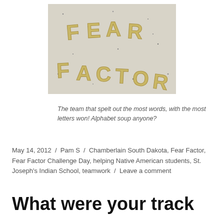[Figure (photo): Photo of alphabet pasta letters arranged on a speckled surface spelling out 'FEAR FACTOR']
The team that spelt out the most words, with the most letters won! Alphabet soup anyone?
May 14, 2012 / Pam S / Chamberlain South Dakota, Fear Factor, Fear Factor Challenge Day, helping Native American students, St. Joseph's Indian School, teamwork / Leave a comment
What were your track